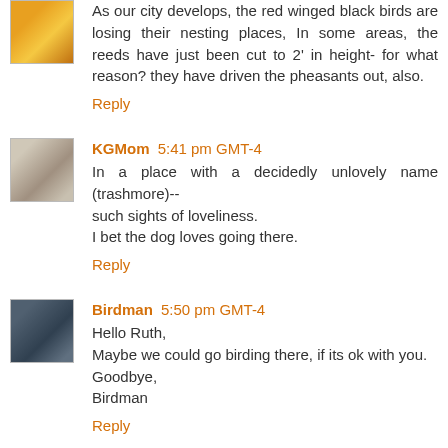As our city develops, the red winged black birds are losing their nesting places, In some areas, the reeds have just been cut to 2' in height- for what reason? they have driven the pheasants out, also.
Reply
KGMom 5:41 pm GMT-4
In a place with a decidedly unlovely name (trashmore)-- such sights of loveliness.
I bet the dog loves going there.
Reply
Birdman 5:50 pm GMT-4
Hello Ruth,
Maybe we could go birding there, if its ok with you.
Goodbye,
Birdman
Reply